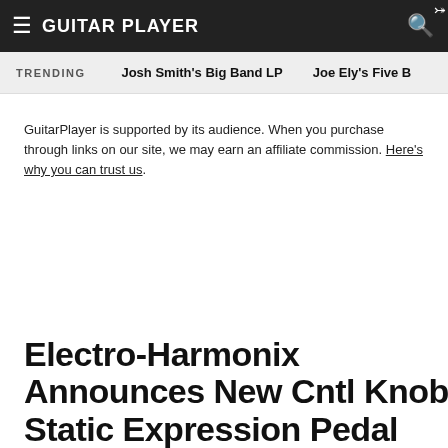Guitar Player
TRENDING   Josh Smith's Big Band LP   Joe Ely's Five B
GuitarPlayer is supported by its audience. When you purchase through links on our site, we may earn an affiliate commission. Here's why you can trust us.
Electro-Harmonix Announces New Cntl Knob Static Expression Pedal